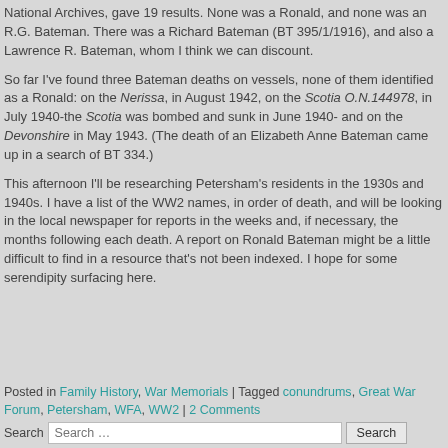National Archives, gave 19 results.  None was a Ronald, and none was an R.G. Bateman.  There was a Richard Bateman (BT 395/1/1916), and also a Lawrence R. Bateman, whom I think we can discount.
So far I've found three Bateman deaths on vessels, none of them identified as a Ronald: on the Nerissa, in August 1942, on the Scotia O.N.144978, in July 1940-the Scotia was bombed and sunk in June 1940- and on the Devonshire in May 1943.  (The death of an  Elizabeth Anne Bateman came up in a search of BT 334.)
This afternoon I'll be researching Petersham's residents in the 1930s and 1940s.   I have a list of the WW2 names, in order of death, and will be looking in the local newspaper for reports in the weeks and, if necessary, the months following each death.  A report on Ronald Bateman might be a little difficult to find in a resource that's not been indexed.  I hope for some serendipity surfacing here.
Posted in Family History, War Memorials | Tagged conundrums, Great War Forum, Petersham, WFA, WW2 | 2 Comments
Search [Search …] Search